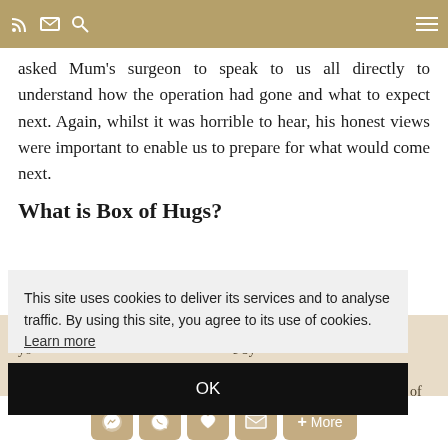Navigation bar with RSS, email, search icons and hamburger menu
asked Mum's surgeon to speak to us all directly to understand how the operation had gone and what to expect next. Again, whilst it was horrible to hear, his honest views were important to enable us to prepare for what would come next.
What is Box of Hugs?
Box of Hugs cookie notice overlay: This site uses cookies to deliver its services and to analyse traffic. By using this site, you agree to its use of cookies. Learn more
OK
Box of Hugs partial text behind overlay
Share buttons: Messenger, WhatsApp, Like, Email, + More